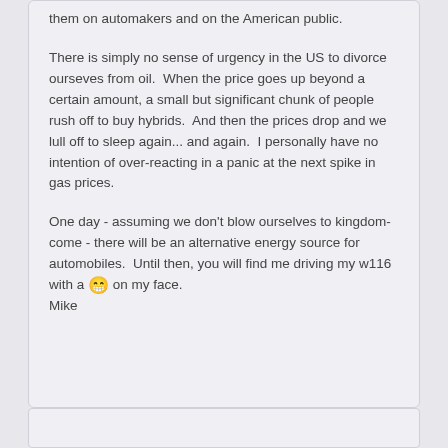them on automakers and on the American public.
There is simply no sense of urgency in the US to divorce ourseves from oil.  When the price goes up beyond a certain amount, a small but significant chunk of people rush off to buy hybrids.  And then the prices drop and we lull off to sleep again... and again.  I personally have no intention of over-reacting in a panic at the next spike in gas prices.
One day - assuming we don't blow ourselves to kingdom-come - there will be an alternative energy source for automobiles.  Until then, you will find me driving my w116 with a 😁 on my face. Mike